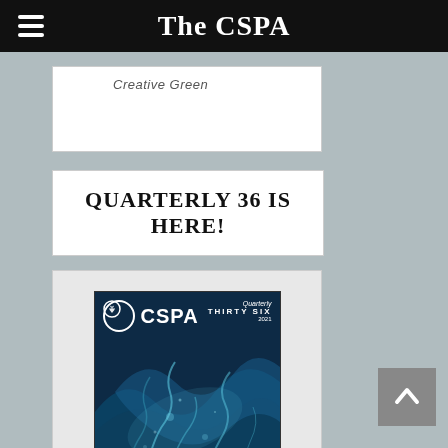The CSPA
Creative Green
QUARTERLY 36 IS HERE!
[Figure (photo): CSPA Quarterly 36 magazine cover showing blue swirling water/smoke imagery with CSPA logo and 'Quarterly THIRTY SIX 2021' text overlay]